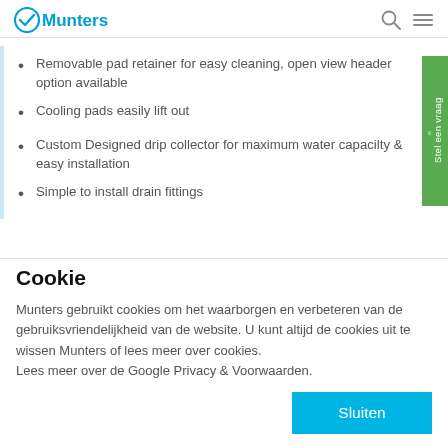Munters
Removable pad retainer for easy cleaning, open view header option available
Cooling pads easily lift out
Custom Designed drip collector for maximum water capacilty & easy installation
Simple to install drain fittings
Cookie
Munters gebruikt cookies om het waarborgen en verbeteren van de gebruiksvriendelijkheid van de website. U kunt altijd de cookies uit te wissen Munters of lees meer over cookies.
Lees meer over de Google Privacy & Voorwaarden.
Sluiten